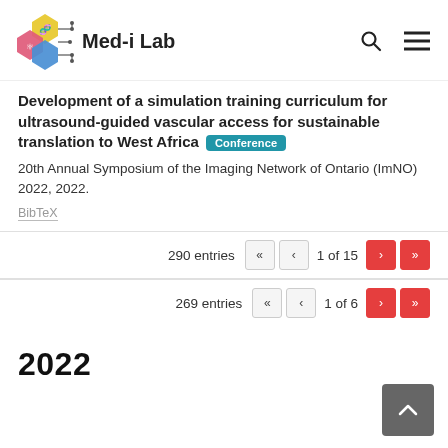Med-i Lab
Development of a simulation training curriculum for ultrasound-guided vascular access for sustainable translation to West Africa [Conference]
20th Annual Symposium of the Imaging Network of Ontario (ImNO) 2022, 2022.
BibTeX
290 entries  1 of 15
269 entries  1 of 6
2022